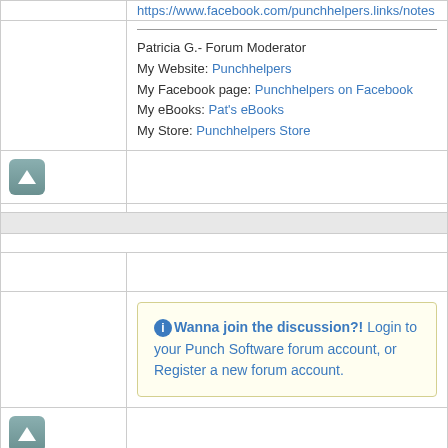https://www.facebook.com/punchhelpers.links/notes
Patricia G.- Forum Moderator
My Website: Punchhelpers
My Facebook page: Punchhelpers on Facebook
My eBooks: Pat's eBooks
My Store: Punchhelpers Store
[Figure (other): Up arrow button (teal/gray rounded square)]
Wanna join the discussion?! Login to your Punch Software forum account, or Register a new forum account.
[Figure (other): Up arrow button (teal/gray rounded square)]